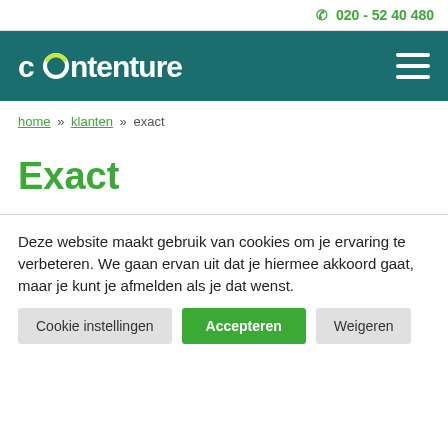020 - 52 40 480
[Figure (logo): Contenture logo in white on teal background with hamburger menu icon]
home » klanten » exact
Exact
Deze website maakt gebruik van cookies om je ervaring te verbeteren. We gaan ervan uit dat je hiermee akkoord gaat, maar je kunt je afmelden als je dat wenst.
Cookie instellingen
Accepteren
Weigeren